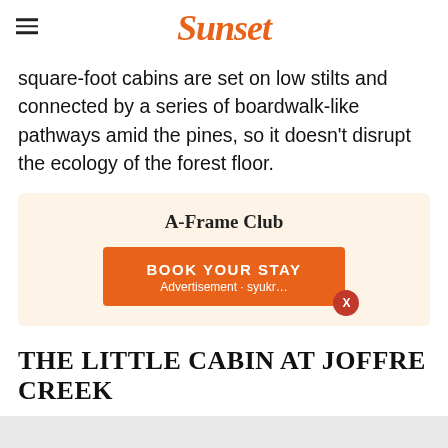Sunset
square-foot cabins are set on low stilts and connected by a series of boardwalk-like pathways amid the pines, so it doesn't disrupt the ecology of the forest floor.
[Figure (other): Advertisement box with orange background titled 'A-Frame Club' with a 'BOOK YOUR STAY' button and a close (X) button overlay]
THE LITTLE CABIN AT JOFFRE CREEK
Mont Currie, British Columbia
The Little Cabin
Joffre Creek Cabins